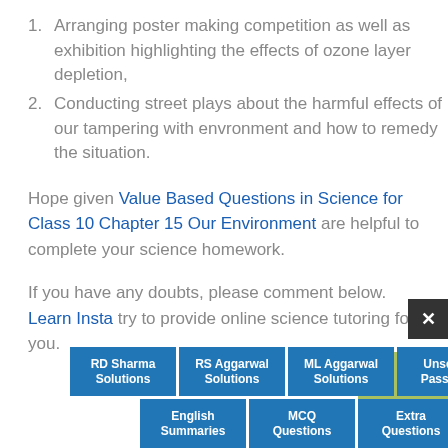1. Arranging poster making competition as well as exhibition highlighting the effects of ozone layer depletion,
2. Conducting street plays about the harmful effects of our tampering with envronment and how to remedy the situation.
Hope given Value Based Questions in Science for Class 10 Chapter 15 Our Environment are helpful to complete your science homework.
If you have any doubts, please comment below. Learn Insta try to provide online science tutoring for you.
[Figure (other): Navigation bar with buttons: RD Sharma Solutions, RS Aggarwal Solutions, ML Aggarwal Solutions, Unseen Passage, English Summaries, MCQ Questions, Extra Questions]